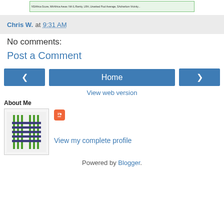[Figure (table-as-image): A small green-bordered table snippet at the top of the page]
Chris W. at 9:31 AM
No comments:
Post a Comment
[Figure (infographic): Navigation buttons: left arrow, Home, right arrow, and View web version link]
About Me
[Figure (logo): Profile image showing a woven/knit pattern graphic in green and dark blue/purple, with Blogger icon]
View my complete profile
Powered by Blogger.